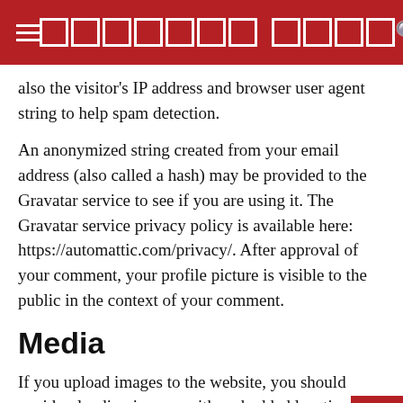☰  [LOGO BLOCKS]  🔍
also the visitor's IP address and browser user agent string to help spam detection.
An anonymized string created from your email address (also called a hash) may be provided to the Gravatar service to see if you are using it. The Gravatar service privacy policy is available here: https://automattic.com/privacy/. After approval of your comment, your profile picture is visible to the public in the context of your comment.
Media
If you upload images to the website, you should avoid uploading images with embedded location data (EXIF GPS) included. Visitors to the website